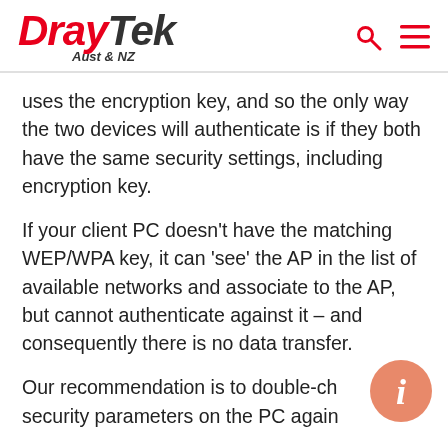DrayTek Aust & NZ
uses the encryption key, and so the only way the two devices will authenticate is if they both have the same security settings, including encryption key.
If your client PC doesn't have the matching WEP/WPA key, it can 'see' the AP in the list of available networks and associate to the AP, but cannot authenticate against it – and consequently there is no data transfer.
Our recommendation is to double-ch the security parameters on the PC agains